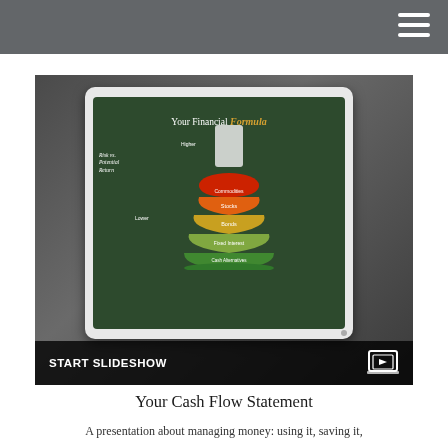Navigation bar with hamburger menu
[Figure (screenshot): A tablet device displaying a slideshow slide titled 'Your Financial Formula' with an Erlenmeyer flask infographic showing Risk vs. Potential Return layers: Cash Alternatives (green), Fixed Interest, Bonds, Stocks, Commodities (red at top). Labels show 'Lower' and 'Higher'. Bottom bar reads 'START SLIDESHOW' with a slideshow icon.]
Your Cash Flow Statement
A presentation about managing money: using it, saving it,